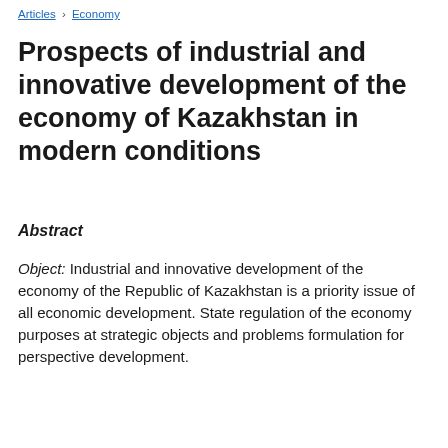Articles > Economy
Prospects of industrial and innovative development of the economy of Kazakhstan in modern conditions
Abstract
Object: Industrial and innovative development of the economy of the Republic of Kazakhstan is a priority issue of all economic development. State regulation of the economy purposes at strategic objects and problems formulation for perspective development.